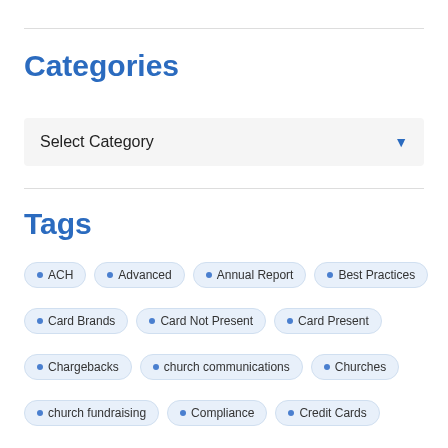Categories
[Figure (other): Dropdown selector labeled 'Select Category' with a blue downward arrow]
Tags
ACH
Advanced
Annual Report
Best Practices
Card Brands
Card Not Present
Card Present
Chargebacks
church communications
Churches
church fundraising
Compliance
Credit Cards